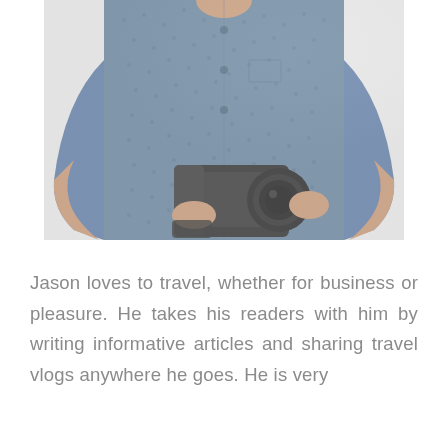[Figure (photo): A man from neck to waist wearing a blue patterned button-up shirt, holding a DSLR camera with both hands. White/light gray background.]
Jason loves to travel, whether for business or pleasure. He takes his readers with him by writing informative articles and sharing travel vlogs anywhere he goes. He is very